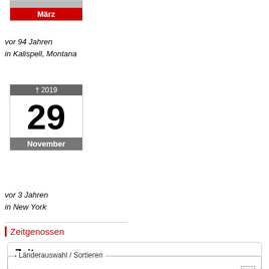[Figure (other): Calendar widget showing birth month März (March), red header, with text 'vor 94 Jahren in Kalispell, Montana']
vor 94 Jahren
in Kalispell, Montana
[Figure (other): Calendar widget showing death date 29 November 2019, gray header with dagger symbol, with text 'vor 3 Jahren in New York']
vor 3 Jahren
in New York
Zeitgenossen
Zeitgenossen
Länderauswahl / Sortieren
USA
Name
Lebensjahre
Geburtsjahr
Sterbejahr